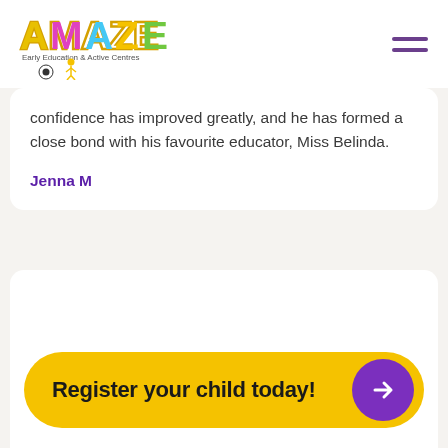AMAZE Early Education & Active Centres
confidence has improved greatly, and he has formed a close bond with his favourite educator, Miss Belinda.
Jenna M
[Figure (other): Empty white card area]
Register your child today!